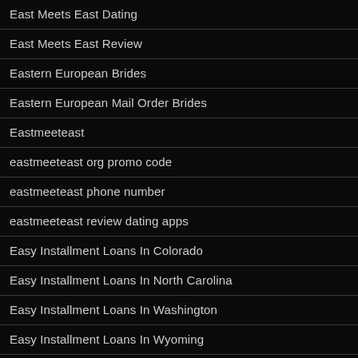East Meets East Dating
East Meets East Review
Eastern European Brides
Eastern European Mail Order Brides
Eastmeeteast
eastmeeteast org promo code
eastmeeteast phone number
eastmeeteast review dating apps
Easy Installment Loans In Colorado
Easy Installment Loans In North Carolina
Easy Installment Loans In Washington
Easy Installment Loans In Wyoming
Easy Installment Loans Online